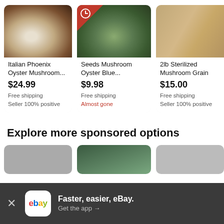[Figure (screenshot): Product listing card 1: Italian Phoenix Oyster Mushroom - white oyster mushrooms close-up photo]
Italian Phoenix Oyster Mushroom...
$24.99
Free shipping
Seller 100% positive
[Figure (screenshot): Product listing card 2: Seeds Mushroom Oyster Blue - blue oyster mushrooms growing on rocks in forest, with red corner badge (timer icon). Almost gone.]
Seeds Mushroom Oyster Blue...
$9.98
Free shipping
Almost gone
[Figure (screenshot): Product listing card 3: 2lb Sterilized Mushroom Grain - plastic bag of grain spawn]
2lb Sterilized Mushroom Grain
$15.00
Free shipping
Seller 100% positive
Explore more sponsored options
[Figure (screenshot): Partial bottom product cards row, partially visible]
Faster, easier, eBay. Get the app →